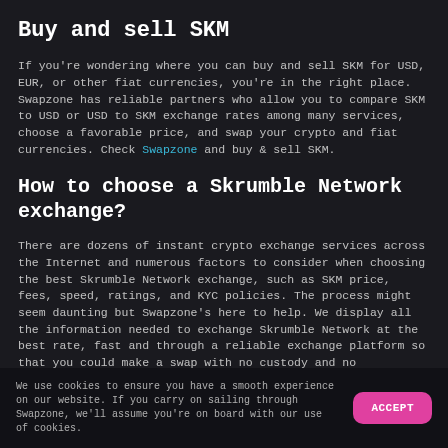Buy and sell SKM
If you're wondering where you can buy and sell SKM for USD, EUR, or other fiat currencies, you're in the right place. Swapzone has reliable partners who allow you to compare SKM to USD or USD to SKM exchange rates among many services, choose a favorable price, and swap your crypto and fiat currencies. Check Swapzone and buy & sell SKM.
How to choose a Skrumble Network exchange?
There are dozens of instant crypto exchange services across the Internet and numerous factors to consider when choosing the best Skrumble Network exchange, such as SKM price, fees, speed, ratings, and KYC policies. The process might seem daunting but Swapzone's here to help. We display all the information needed to exchange Skrumble Network at the best rate, fast and through a reliable exchange platform so that you could make a swap with no custody and no registration.
We use cookies to ensure you have a smooth experience on our website. If you carry on sailing through Swapzone, we'll assume you're on board with our use of cookies.